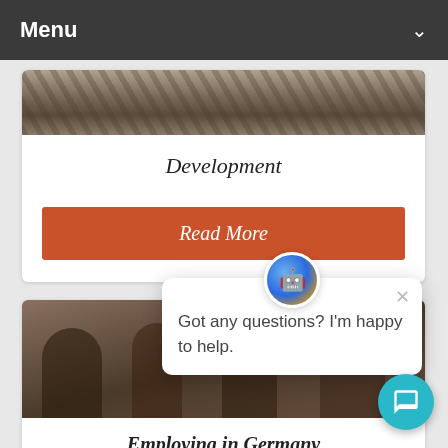Menu
Development
Read More
[Figure (photo): Photo of rocky terrain or soil]
Got any questions? I'm happy to help.
[Figure (photo): Photo of people working in an office setting]
Employing in Germany